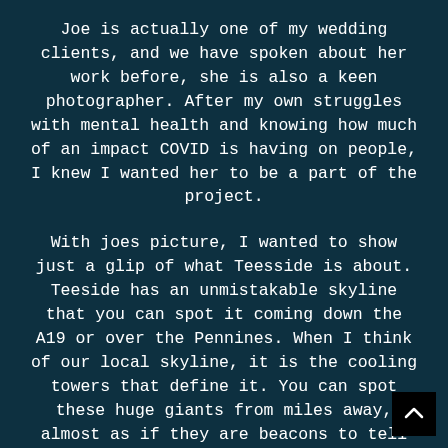Joe is actually one of my wedding clients, and we have spoken about her work before, she is also a keen photographer. After my own struggles with mental health and knowing how much of an impact COVID is having on people, I knew I wanted her to be a part of the project.
With joes picture, I wanted to show just a glip of what Teesside is about. Teeside has an unmistakable skyline that you can spot it coming down the A19 or over the Pennines. When I think of our local skyline, it is the cooling towers that define it. You can spot these huge giants from miles away, almost as if they are beacons to tell you are close to home.